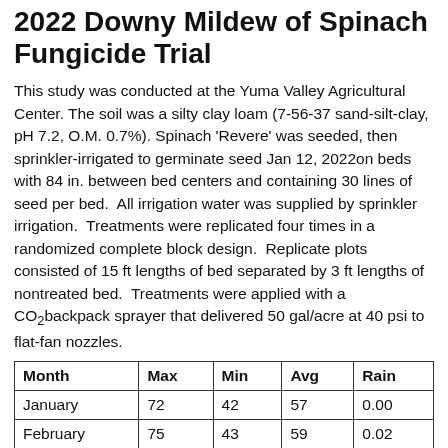2022 Downy Mildew of Spinach Fungicide Trial
This study was conducted at the Yuma Valley Agricultural Center. The soil was a silty clay loam (7-56-37 sand-silt-clay, pH 7.2, O.M. 0.7%). Spinach 'Revere' was seeded, then sprinkler-irrigated to germinate seed Jan 12, 2022on beds with 84 in. between bed centers and containing 30 lines of seed per bed.  All irrigation water was supplied by sprinkler irrigation.  Treatments were replicated four times in a randomized complete block design.  Replicate plots consisted of 15 ft lengths of bed separated by 3 ft lengths of nontreated bed.  Treatments were applied with a CO2backpack sprayer that delivered 50 gal/acre at 40 psi to flat-fan nozzles.
| Month | Max | Min | Avg | Rain |
| --- | --- | --- | --- | --- |
| January | 72 | 42 | 57 | 0.00 |
| February | 75 | 43 | 59 | 0.02 |